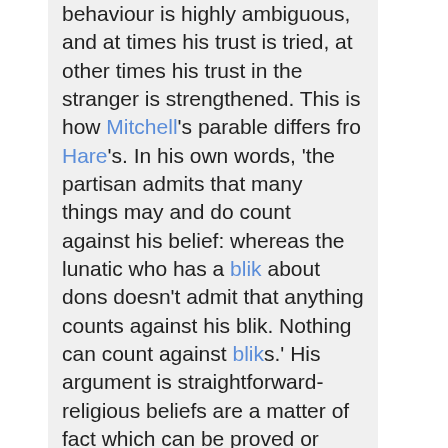behaviour is highly ambiguous, and at times his trust is tried, at other times his trust in the stranger is strengthened. This is how Mitchell's parable differs fro Hare's. In his own words, 'the partisan admits that many things may and do count against his belief: whereas the lunatic who has a blik about dons doesn't admit that anything counts against his blik. Nothing can count against bliks.' His argument is straightforward- religious beliefs are a matter of fact which can be proved or disproved. The stranger knows whose side he is on. After the war the ambiguity of the stranger's behaviour